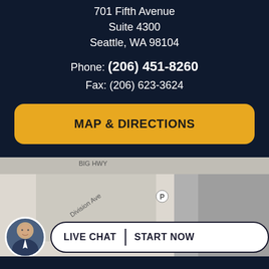701 Fifth Avenue
Suite 4300
Seattle, WA 98104
Phone: (206) 451-8260
Fax: (206) 623-3624
MAP & DIRECTIONS
[Figure (map): Street map showing Wright Park area with Division Ave label and a location marker pin]
LIVE CHAT  START NOW